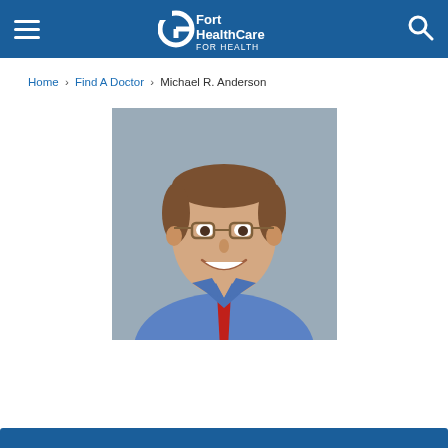Fort HealthCare — For Health
Home › Find A Doctor › Michael R. Anderson
[Figure (photo): Professional headshot of Dr. Michael R. Anderson, a middle-aged man with short brown hair, glasses, wearing a blue dress shirt and red tie, smiling, against a gray background.]